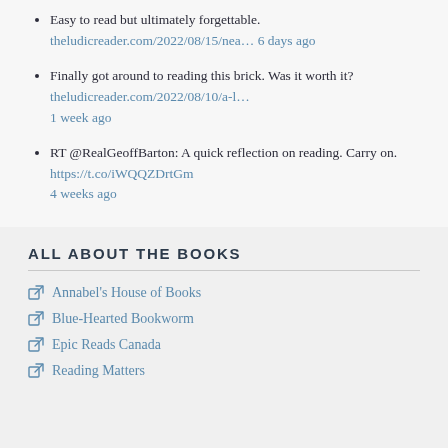Easy to read but ultimately forgettable. theludicreader.com/2022/08/15/nea… 6 days ago
Finally got around to reading this brick. Was it worth it? theludicreader.com/2022/08/10/a-l… 1 week ago
RT @RealGeoffBarton: A quick reflection on reading. Carry on. https://t.co/iWQQZDrtGm 4 weeks ago
ALL ABOUT THE BOOKS
Annabel's House of Books
Blue-Hearted Bookworm
Epic Reads Canada
Reading Matters